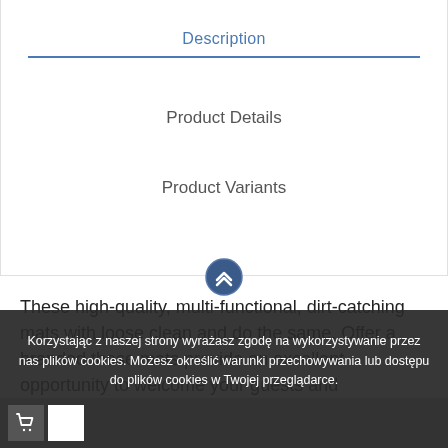Description
Product Details
Product Variants
These high-quality, multi-functional, dirt-catching mats with loose clean and do the same. Offer a branded these mats provide an excellent opportunity to welcome your guests and customers, provide an excellent opportunity to promote the brand or
Korzystając z naszej strony wyrażasz zgodę na wykorzystywanie przez nas plików cookies. Możesz określić warunki przechowywania lub dostępu do plików cookies w Twojej przeglądarce.
ACCEPT
More info
Reject